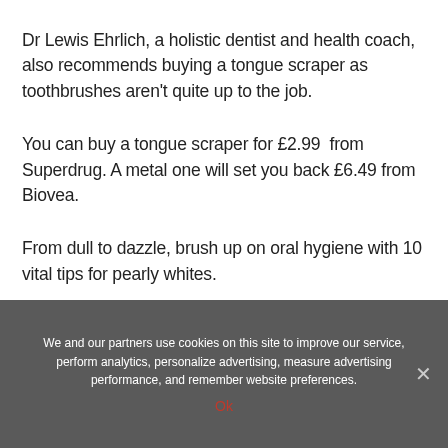Dr Lewis Ehrlich, a holistic dentist and health coach, also recommends buying a tongue scraper as toothbrushes aren't quite up to the job.
You can buy a tongue scraper for £2.99  from Superdrug. A metal one will set you back £6.49 from Biovea.
From dull to dazzle, brush up on oral hygiene with 10 vital tips for pearly whites.
We and our partners use cookies on this site to improve our service, perform analytics, personalize advertising, measure advertising performance, and remember website preferences.